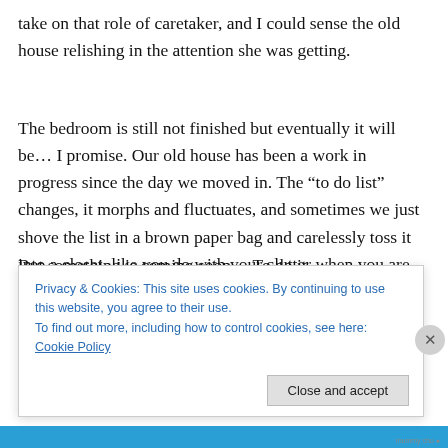take on that role of caretaker, and I could sense the old house relishing in the attention she was getting.
The bedroom is still not finished but eventually it will be… I promise. Our old house has been a work in progress since the day we moved in. The “to do list” changes, it morphs and fluctuates, and sometimes we just shove the list in a brown paper bag and carelessly toss it into a closet, like you do with your clutter when you are preparing to have guests over for a party.
But something is coming soon… To do it…
Privacy & Cookies: This site uses cookies. By continuing to use this website, you agree to their use.
To find out more, including how to control cookies, see here: Cookie Policy
Close and accept